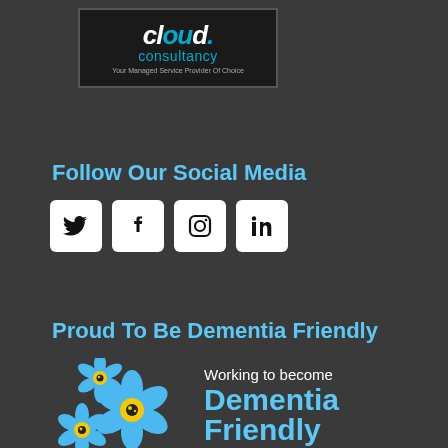[Figure (logo): Cloud Consultancy logo — white text on dark background with blue accent, tagline: Your Managed Service Provider Of Choice]
Follow Our Social Media
[Figure (illustration): Four social media icons: Twitter, Facebook, Instagram, LinkedIn — white square icons with black symbols]
Proud To Be Dementia Friendly
[Figure (logo): Dementia Friendly badge with blue forget-me-not flowers and text: Working to become Dementia Friendly 2019-2020]